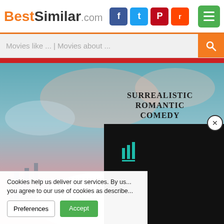BestSimilar.com
Movies like ... | Movies about ...
[Figure (photo): Movie poster for a surrealistic romantic comedy. Features a person standing on a large mound of cotton or clouds with a city skyline in the background. Text reads: SURREALISTIC ROMANTIC COMEDY FROM THE DIRECTOR OF * TEARS OF THE BLACK TIGER *]
Cookies help us deliver our services. By us... you agree to our use of cookies as describe...
Preferences
Accept